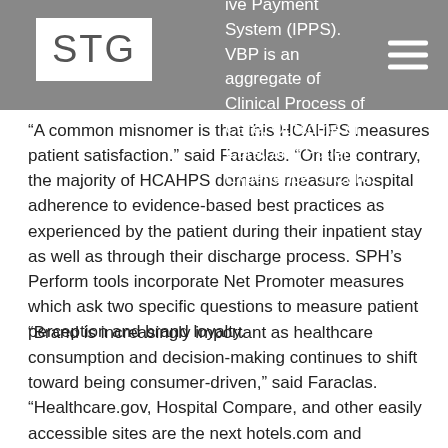STG | quality care for those paid under the Inpatient Prospective Payment System (IPPS). VBP is an aggregate of Clinical Process of Care, Outcome of Care, and Patient Experience of Care.
“A common misnomer is that this HCAHPS measures patient satisfaction.” said Faraclas. “On the contrary, the majority of HCAHPS domains measure hospital adherence to evidence-based best practices as experienced by the patient during their inpatient stay as well as through their discharge process. SPH’s Perform tools incorporate Net Promoter measures which ask two specific questions to measure patient perception and brand loyalty.
“Brand is increasingly important as healthcare consumption and decision-making continues to shift toward being consumer-driven,” said Faraclas. “Healthcare.gov, Hospital Compare, and other easily accessible sites are the next hotels.com and Consumer